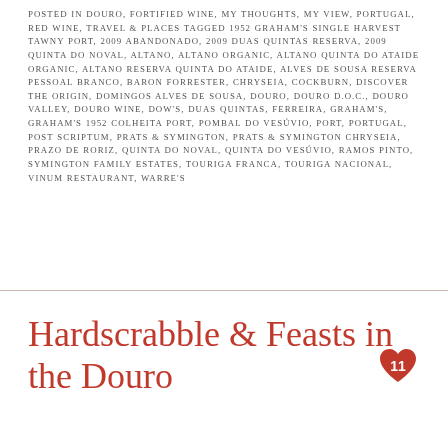POSTED IN DOURO, FORTIFIED WINE, MY THOUGHTS, MY VIEW, PORTUGAL, RED WINE, TRAVEL & PLACES TAGGED 1952 GRAHAM'S SINGLE HARVEST TAWNY PORT, 2009 ABANDONADO, 2009 DUAS QUINTAS RESERVA, 2009 QUINTA DO NOVAL, ALTANO, ALTANO ORGANIC, ALTANO QUINTA DO ATAIDE ORGANIC, ALTANO RESERVA QUINTA DO ATAIDE, ALVES DE SOUSA RESERVA PESSOAL BRANCO, BARON FORRESTER, CHRYSEIA, COCKBURN, DISCOVER THE ORIGIN, DOMINGOS ALVES DE SOUSA, DOURO, DOURO D.O.C., DOURO VALLEY, DOURO WINE, DOW'S, DUAS QUINTAS, FERREIRA, GRAHAM'S, GRAHAM'S 1952 COLHEITA PORT, POMBAL DO VESÚVIO, PORT, PORTUGAL, POST SCRIPTUM, PRATS & SYMINGTON, PRATS & SYMINGTON CHRYSEIA, PRAZO DE RORIZ, QUINTA DO NOVAL, QUINTA DO VESÚVIO, RAMOS PINTO, SYMINGTON FAMILY ESTATES, TOURIGA FRANCA, TOURIGA NACIONAL, VINUM RESTAURANT, WARRE'S
Hardscrabble & Feasts in the Douro